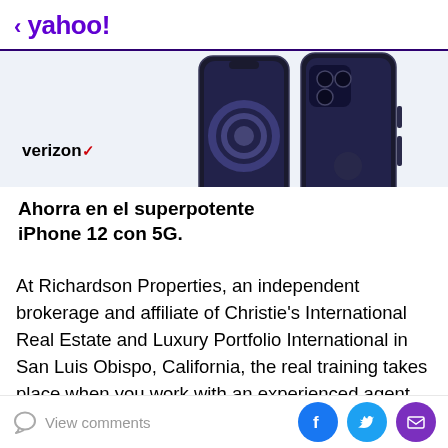< yahoo!
[Figure (photo): Verizon advertisement featuring two dark-colored iPhone 12 devices side by side on a light blue background, with the Verizon logo and text 'Ahorra en el superpotente iPhone 12 con 5G.']
At Richardson Properties, an independent brokerage and affiliate of Christie's International Real Estate and Luxury Portfolio International in San Luis Obispo, California, the real training takes place when you work with an experienced agent. Charles Richardson, founder and
View comments